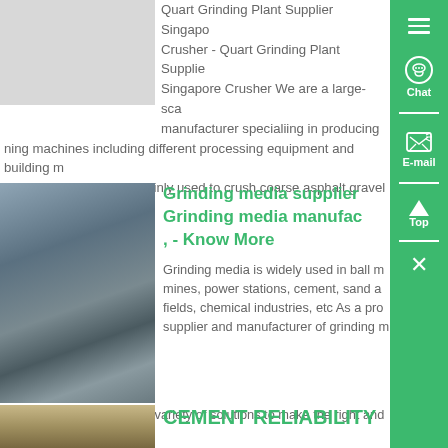Quart Grinding Plant Supplier Singapore Crusher - Quart Grinding Plant Supplier Singapore Crusher We are a large-scale manufacturer specialiing in producing mining machines including different processing equipment and building material equipment And they are mainly used to crush coarse asphalt gravel concrete etails...
[Figure (photo): Industrial grinding/milling machine - ball mill or similar cylindrical industrial equipment]
Grinding media supplier, Grinding media manufacturer, - Know More
Grinding media is widely used in ball mines, power stations, cement, sand and gravel fields, chemical industries, etc As a professional supplier and manufacturer of grinding media from China, DHG can offer a variety of solutions to make the right and most cost-effective products for our customers' projects Get a quote now...
[Figure (photo): Industrial construction or mining site with machinery]
CEMENT RELIABILITY